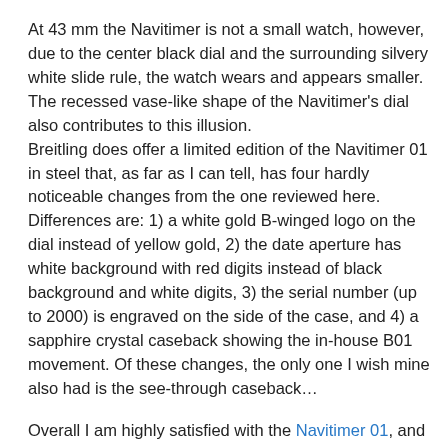At 43 mm the Navitimer is not a small watch, however, due to the center black dial and the surrounding silvery white slide rule, the watch wears and appears smaller. The recessed vase-like shape of the Navitimer's dial also contributes to this illusion. Breitling does offer a limited edition of the Navitimer 01 in steel that, as far as I can tell, has four hardly noticeable changes from the one reviewed here. Differences are: 1) a white gold B-winged logo on the dial instead of yellow gold, 2) the date aperture has white background with red digits instead of black background and white digits, 3) the serial number (up to 2000) is engraved on the side of the case, and 4) a sapphire crystal caseback showing the in-house B01 movement. Of these changes, the only one I wish mine also had is the see-through caseback…
Overall I am highly satisfied with the Navitimer 01, and as my first introduction to Breitling watches I think I